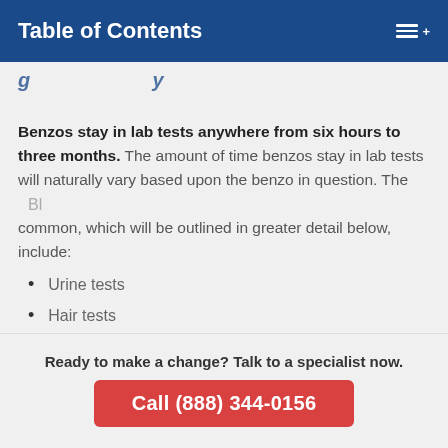Table of Contents
(partial heading — cut off)
Benzos stay in lab tests anywhere from six hours to three months. The amount of time benzos stay in lab tests will naturally vary based upon the benzo in question. The screening method is a major factor too. The four most common, which will be outlined in greater detail below, include:
Urine tests
Hair tests
Ready to make a change? Talk to a specialist now.
Call (888) 344-0156